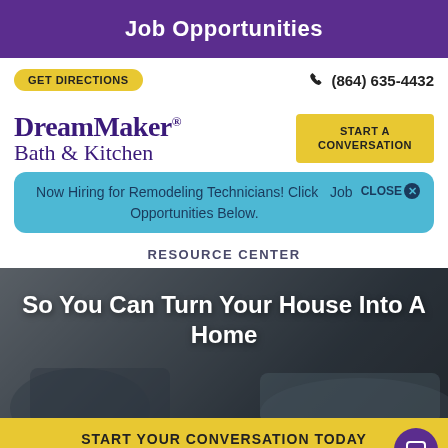Job Opportunities
GET DIRECTIONS
(864) 635-4432
[Figure (logo): DreamMaker Bath & Kitchen logo in purple serif font]
START A CONVERSATION
Now Hiring for Remodeling Technicians! Click Job Opportunities Below.
CLOSE
RESOURCE CENTER
So You Can Turn Your House Into A Home
START YOUR CONVERSATION TODAY